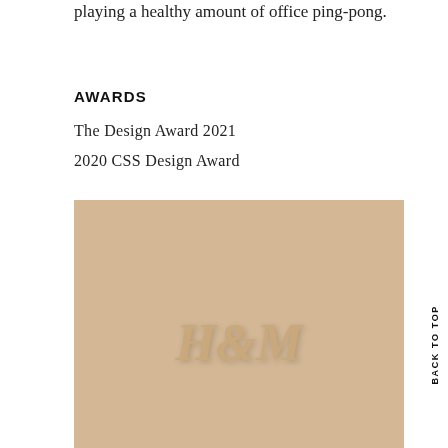playing a healthy amount of office ping-pong.
AWARDS
The Design Award 2021
2020 CSS Design Award
[Figure (photo): H&M branded product image on a beige/tan background with embossed H&M logo in the center]
BACK TO TOP